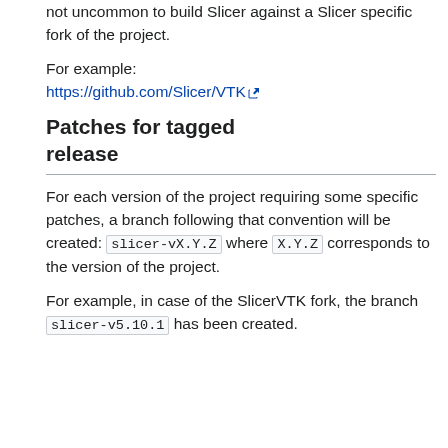not uncommon to build Slicer against a Slicer specific fork of the project.
For example:
https://github.com/Slicer/VTK
Patches for tagged release
For each version of the project requiring some specific patches, a branch following that convention will be created: slicer-vX.Y.Z where X.Y.Z corresponds to the version of the project.
For example, in case of the SlicerVTK fork, the branch slicer-v5.10.1 has been created.